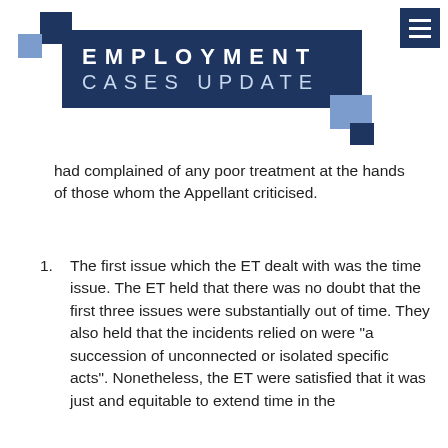EMPLOYMENT CASES UPDATE
had complained of any poor treatment at the hands of those whom the Appellant criticised.
The first issue which the ET dealt with was the time issue. The ET held that there was no doubt that the first three issues were substantially out of time. They also held that the incidents relied on were "a succession of unconnected or isolated specific acts". Nonetheless, the ET were satisfied that it was just and equitable to extend time in the